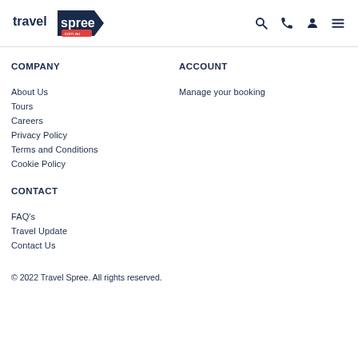travelspree.com.au
COMPANY
About Us
Tours
Careers
Privacy Policy
Terms and Conditions
Cookie Policy
CONTACT
FAQ's
Travel Update
Contact Us
ACCOUNT
Manage your booking
© 2022 Travel Spree. All rights reserved.